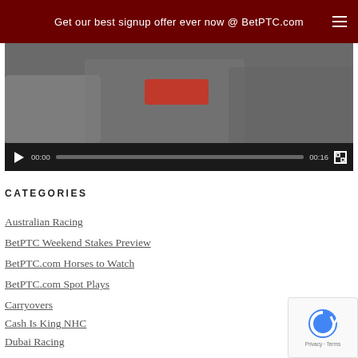Get our best signup offer ever now @ BetPTC.com
[Figure (screenshot): Video player showing crowd of spectators at a racing event, with playback controls showing 00:00 current time and 00:16 total duration]
CATEGORIES
Australian Racing
BetPTC Weekend Stakes Preview
BetPTC.com Horses to Watch
BetPTC.com Spot Plays
Carryovers
Cash Is King NHC
Dubai Racing
General
[Figure (logo): reCAPTCHA badge with Privacy and Terms text]